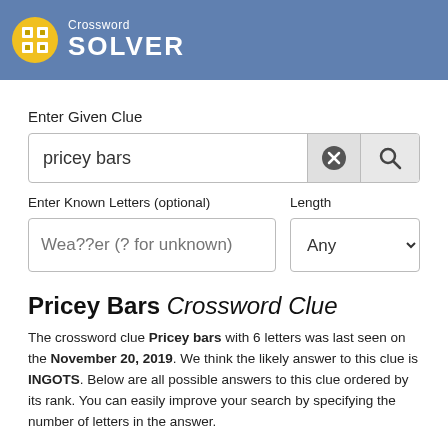[Figure (logo): Crossword Solver logo with yellow crossword grid icon and white text on blue banner]
Enter Given Clue
pricey bars
Enter Known Letters (optional)
Length
Wea??er (? for unknown)
Any
Pricey Bars Crossword Clue
The crossword clue Pricey bars with 6 letters was last seen on the November 20, 2019. We think the likely answer to this clue is INGOTS. Below are all possible answers to this clue ordered by its rank. You can easily improve your search by specifying the number of letters in the answer.